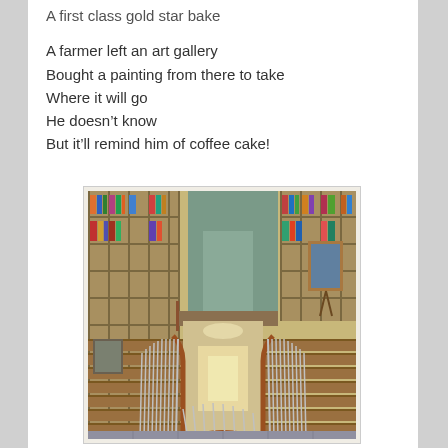A first class gold star bake
A farmer left an art gallery
Bought a painting from there to take
Where it will go
He doesn't know
But it'll remind him of coffee cake!
[Figure (photo): Interior photo of a multi-level library or bookshop with floor-to-ceiling wooden bookshelves filled with books, a wooden staircase with metal balusters and a curved wooden handrail, warm lighting, and a painting on an easel visible in the background.]